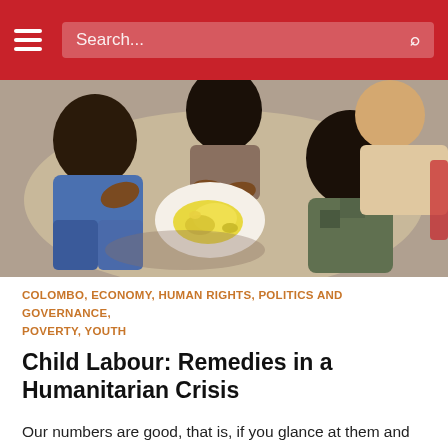Search...
[Figure (photo): Children sitting in a circle on the ground sharing food, viewed from above, in an outdoor setting.]
COLOMBO, ECONOMY, HUMAN RIGHTS, POLITICS AND GOVERNANCE, POVERTY, YOUTH
Child Labour: Remedies in a Humanitarian Crisis
Our numbers are good, that is, if you glance at them and move on. We are proud to acknowledge that we have some of the lowest rates of child labour in South...